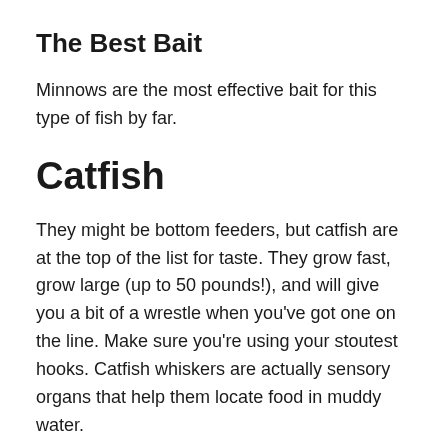The Best Bait
Minnows are the most effective bait for this type of fish by far.
Catfish
They might be bottom feeders, but catfish are at the top of the list for taste. They grow fast, grow large (up to 50 pounds!), and will give you a bit of a wrestle when you've got one on the line. Make sure you're using your stoutest hooks. Catfish whiskers are actually sensory organs that help them locate food in muddy water.
Where To Find Them
Try drop-offs near deep water or look for docks and